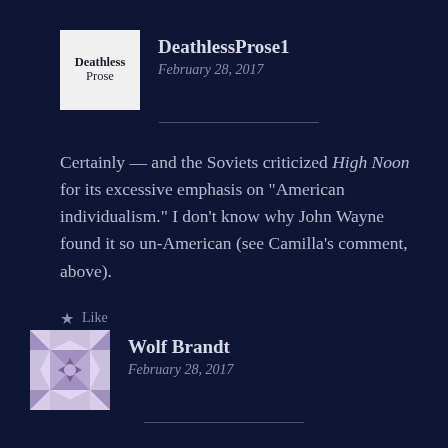[Figure (logo): Deathless Prose blog avatar/logo: white square with 'Deathless Prose' text in serif font]
DeathlessProse1
February 28, 2017
Certainly — and the Soviets criticized High Noon for its excessive emphasis on “American individualism.” I don’t know why John Wayne found it so un-American (see Camilla’s comment, above).
★ Like
[Figure (illustration): Wolf Brandt avatar: purple/lavender geometric quilt pattern on square tile]
Wolf Brandt
February 28, 2017